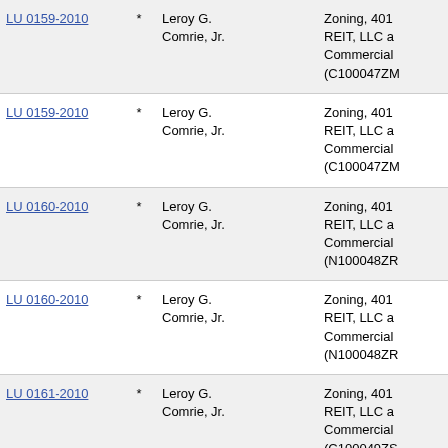| Link |  | Name | Description |
| --- | --- | --- | --- |
| LU 0159-2010 | * | Leroy G. Comrie, Jr. | Zoning, 401 REIT, LLC a Commercial (C100047ZM |
| LU 0159-2010 | * | Leroy G. Comrie, Jr. | Zoning, 401 REIT, LLC a Commercial (C100047ZM |
| LU 0160-2010 | * | Leroy G. Comrie, Jr. | Zoning, 401 REIT, LLC a Commercial (N100048ZR |
| LU 0160-2010 | * | Leroy G. Comrie, Jr. | Zoning, 401 REIT, LLC a Commercial (N100048ZR |
| LU 0161-2010 | * | Leroy G. Comrie, Jr. | Zoning, 401 REIT, LLC a Commercial (C100049ZS |
| LU 0161-2010 | * | Leroy G. Comrie, Jr. | Zoning, 401 REIT, LLC a Commercial (C100049ZS |
| LU 0162-2010 | * | Leroy G. | Zoning, 401 |